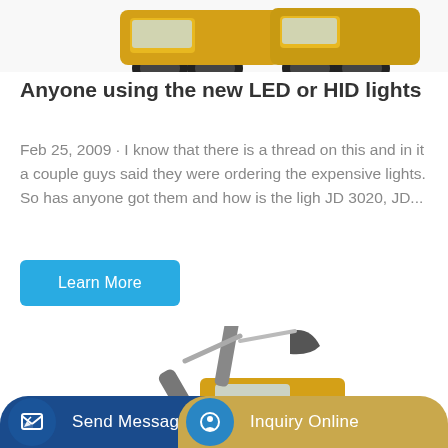[Figure (photo): Yellow construction/farming machinery vehicles photographed from front, partially cropped at top of page]
Anyone using the new LED or HID lights
Feb 25, 2009 · I know that there is a thread on this and in it a couple guys said they were ordering the expensive lights. So has anyone got them and how is the ligh JD 3020, JD...
Learn More
[Figure (photo): Yellow excavator (XCMG brand) photographed at an angle showing the arm and cab, partially cropped at bottom of page]
Send Message
Inquiry Online